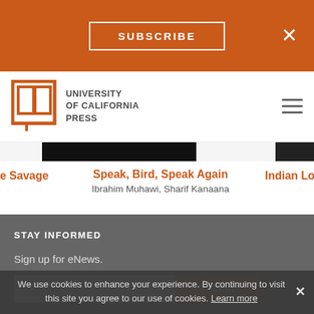SUBSCRIBE
[Figure (logo): University of California Press logo with open book icon and text]
e Savage
Speak, Bird, Speak Again
Ibrahim Muhawi, Sharif Kanaana
Indian Lo
STAY INFORMED
Sign up for eNews.
email address
Submit
We use cookies to enhance your experience. By continuing to visit this site you agree to our use of cookies. Learn more